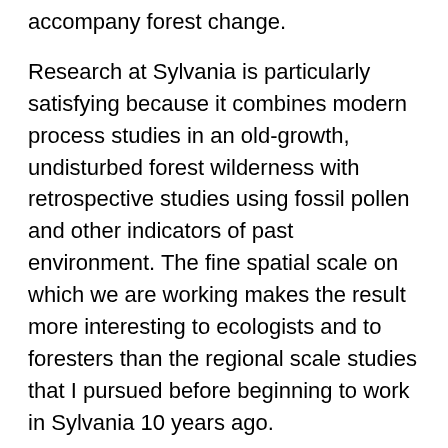accompany forest change.
Research at Sylvania is particularly satisfying because it combines modern process studies in an old-growth, undisturbed forest wilderness with retrospective studies using fossil pollen and other indicators of past environment. The fine spatial scale on which we are working makes the result more interesting to ecologists and to foresters than the regional scale studies that I pursued before beginning to work in Sylvania 10 years ago.
Three of my current graduate students are actively involved in research at Sylvania and the surrounding region, while a fourth is studying the role of Lake Superior in the climate history of the Upper Peninsula, using paleoecology and modeling. Yet another student has initiated research on the vegetation and climatic history of the Hawaiian Islands – a fascinating project that may shed light on the Quaternary